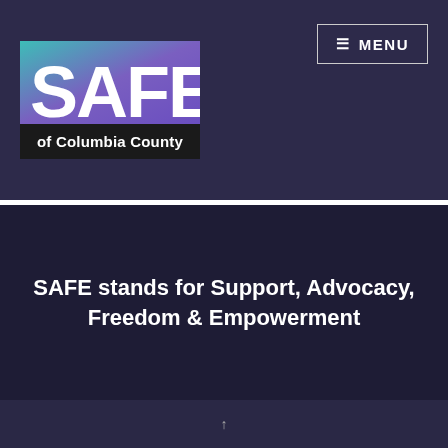[Figure (logo): SAFE of Columbia County logo: large bold white 'SAFE' letters on gradient teal-to-purple background, with 'of Columbia County' in white text on black bar below]
≡ MENU
SAFE stands for Support, Advocacy, Freedom & Empowerment
↑